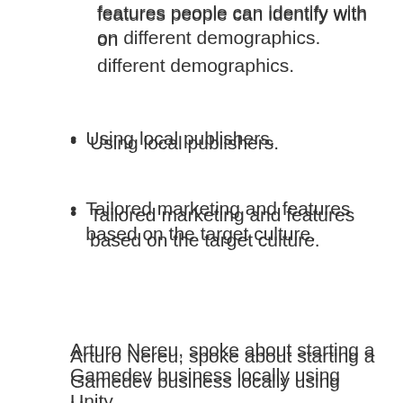features people can identify with on different demographics.
Using local publishers.
Tailored marketing and features based on the target culture.
Arturo Nereu, spoke about starting a Gamedev business locally using Unity.
[Figure (photo): A presenter standing at a podium on a dark stage. A presentation slide is visible showing the text 'The world is a better place with more creators in it.' in teal/cyan color. A BGA logo badge is visible on the podium. Unity logo appears in the bottom right corner.]